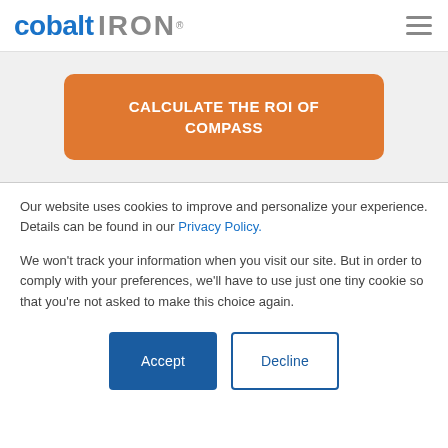cobalt IRON®
CALCULATE THE ROI OF COMPASS
Our website uses cookies to improve and personalize your experience. Details can be found in our Privacy Policy.
We won't track your information when you visit our site. But in order to comply with your preferences, we'll have to use just one tiny cookie so that you're not asked to make this choice again.
Accept
Decline